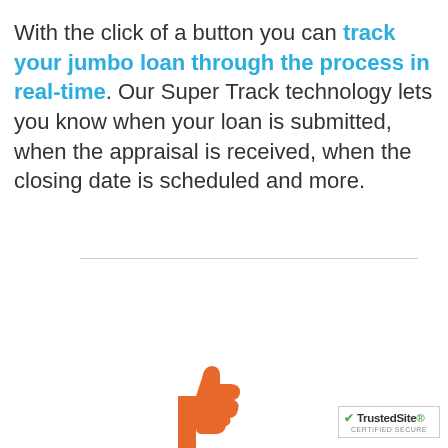With the click of a button you can track your jumbo loan through the process in real-time. Our Super Track technology lets you know when your loan is submitted, when the appraisal is received, when the closing date is scheduled and more.
[Figure (illustration): Orange thumbs-up icon (partially visible at bottom of page)]
[Figure (logo): TrustedSite Certified Secure badge in bottom-right corner]